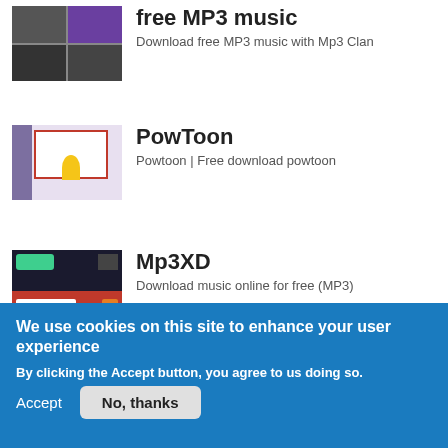[Figure (screenshot): Thumbnail image of Mp3 Clan website showing a dark multi-panel screenshot]
free MP3 music
Download free MP3 music with Mp3 Clan
[Figure (screenshot): Thumbnail of PowToon website showing animation editor with character]
PowToon
Powtoon | Free download powtoon
[Figure (screenshot): Thumbnail of Mp3XD website showing dark header with red search bar]
Mp3XD
Download music online for free (MP3)
We use cookies on this site to enhance your user experience
By clicking the Accept button, you agree to us doing so.
Accept
No, thanks